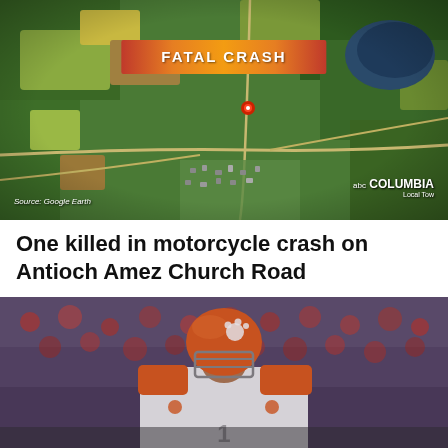[Figure (screenshot): Aerial satellite map (Google Earth) showing a rural area. A red location pin is visible near the center. A gradient banner reading 'FATAL CRASH' overlays the top portion. Bottom-left has 'Source: Google Earth' label. Bottom-right has ABC Columbia watermark.]
One killed in motorcycle crash on Antioch Amez Church Road
[Figure (photo): A Clemson football player wearing an orange helmet with the Clemson tiger paw logo and a white jersey. The background shows blurred crowd and stadium setting.]